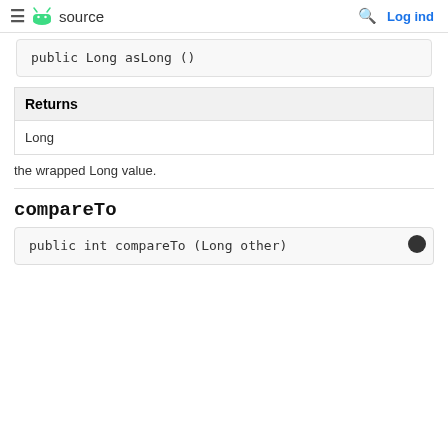≡ source | Log ind
public Long asLong ()
| Returns |
| --- |
| Long |
the wrapped Long value.
compareTo
public int compareTo (Long other)